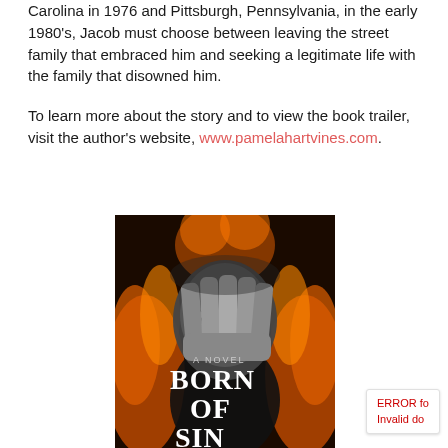Carolina in 1976 and Pittsburgh, Pennsylvania, in the early 1980's, Jacob must choose between leaving the street family that embraced him and seeking a legitimate life with the family that disowned him.
To learn more about the story and to view the book trailer, visit the author's website, www.pamelahartvines.com.
[Figure (illustration): Book cover for 'Born of Sin: A Novel' showing a person with hands covering face surrounded by flames, in black and white with orange fire elements.]
ERROR fo
Invalid do